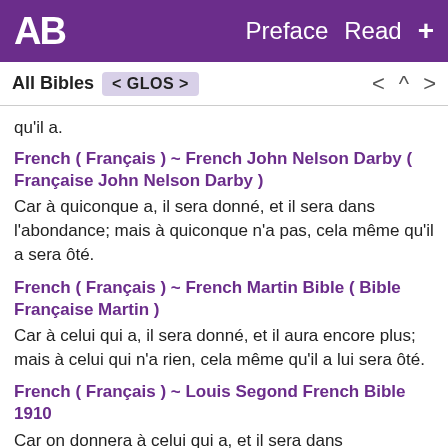AB  Preface  Read  +
All Bibles  < GLOS >  <  ^  >
qu'il a.
French ( Français ) ~ French John Nelson Darby ( Française John Nelson Darby )
Car à quiconque a, il sera donné, et il sera dans l'abondance; mais à quiconque n'a pas, cela même qu'il a sera ôté.
French ( Français ) ~ French Martin Bible ( Bible Française Martin )
Car à celui qui a, il sera donné, et il aura encore plus; mais à celui qui n'a rien, cela même qu'il a lui sera ôté.
French ( Français ) ~ Louis Segond French Bible 1910
Car on donnera à celui qui a, et il sera dans l'abondance, mais à celui qui n'a pas on ôtera même ce